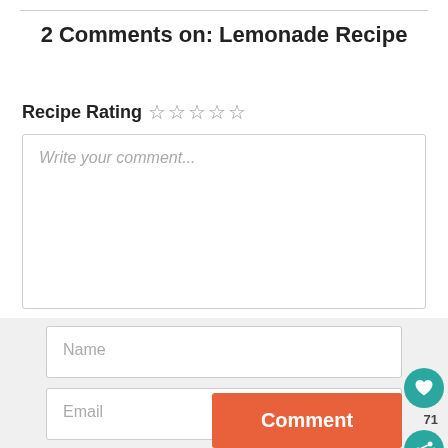2 Comments on: Lemonade Recipe
Recipe Rating ☆☆☆☆☆
Write your comment...
Name
Email
Comment